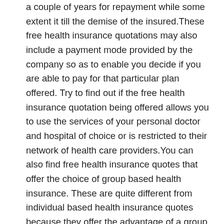a couple of years for repayment while some extent it till the demise of the insured.These free health insurance quotations may also include a payment mode provided by the company so as to enable you decide if you are able to pay for that particular plan offered. Try to find out if the free health insurance quotation being offered allows you to use the services of your personal doctor and hospital of choice or is restricted to their network of health care providers.You can also find free health insurance quotes that offer the choice of group based health insurance. These are quite different from individual based health insurance quotes because they offer the advantage of a group based insurance as opposed to individual, this means they are not customized and each enrolled member in the group receives similar benefits. This group structured health insurance quotes is therefore less costly and doesn't involve extensive screening. Customized free health insurance quotations usually state that an applicant has to undergo broad medical screening. If you settle for this type of free health insurance quotes, the company may require a detailed medical background check, and may possibly focus at your past illness present or